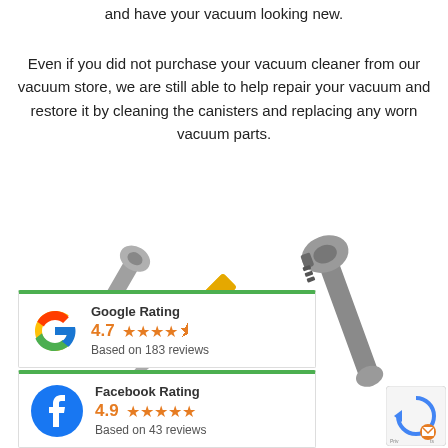and have your vacuum looking new.
Even if you did not purchase your vacuum cleaner from our vacuum store, we are still able to help repair your vacuum and restore it by cleaning the canisters and replacing any worn vacuum parts.
[Figure (illustration): Illustration of tools: a wrench, adjustable wrench, and yellow screwdriver overlapping.]
[Figure (infographic): Google Rating card showing 4.7 stars based on 183 reviews, with Google G logo.]
[Figure (infographic): Facebook Rating card showing 4.9 stars based on 43 reviews, with Facebook logo.]
[Figure (logo): Privacy policy badge/icon in bottom right corner.]